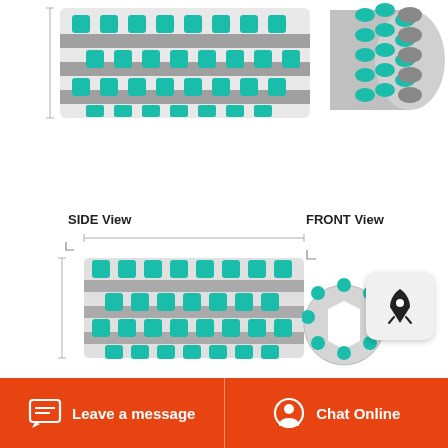[Figure (engineering-diagram): Top-left: 3D perspective view of a jaw crusher roller with interlocking teal/grey teeth segments arranged in a grid pattern. Top-right: Side perspective of cylindrical jaw crusher rollers with teal cutting teeth.]
SIDE View
FRONT View
[Figure (engineering-diagram): Side view technical diagram of jaw crusher roller showing flat elongated view with teal and grey interlocking teeth, with dimension lines on sides and top.]
[Figure (engineering-diagram): Front view technical diagram of jaw crusher showing circular cross-section with teal teeth around circumference, and a separate rectangular tooth element beside it.]
Vanguard Machinery Jaw Crusher Highefficiency
Choose Suitable Grease for Jaw Crusher to Improve Production Efficiency authordahua1 time20180920 As a firstclass crushing the jaw crusher should be regularly overhauled and
Leave a message   Chat Online